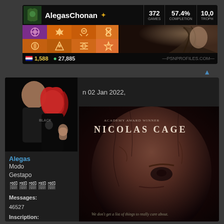[Figure (screenshot): PSN profile card for AlegasChonan showing 372 games, 57.4% completion, 10,0x trophies, trophy icons grid, game character image, flag with 1,588 and green globe with 27,885, psnprofiles.com watermark]
[Figure (photo): Profile photo of two people: bald man in black shirt and woman with red dreadlocks in black dress posing together]
n 02 Jan 2022,
[Figure (photo): Nicolas Cage movie poster with close-up of face and text 'NICOLAS CAGE' and tagline 'We don't get a list of things to really care about.']
Alegas
Modo Gestapo
Messages: 46527 Inscription: Mar 11 Mai 2010, 14:05